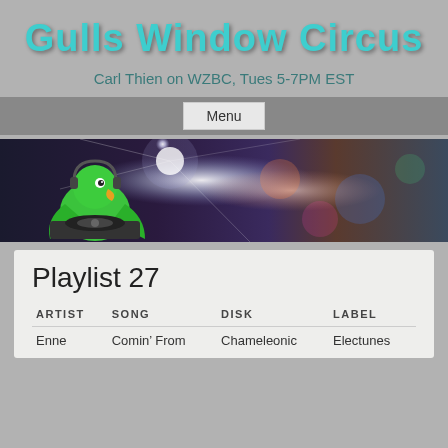Gulls Window Circus
Carl Thien on WZBC, Tues 5-7PM EST
Menu
[Figure (illustration): Banner image showing a green parrot DJ with headphones behind turntables, with disco ball and colorful blurred lights background]
Playlist 27
| ARTIST | SONG | DISK | LABEL |
| --- | --- | --- | --- |
| Enne | Comin’ From | Chameleonic | Electunes |